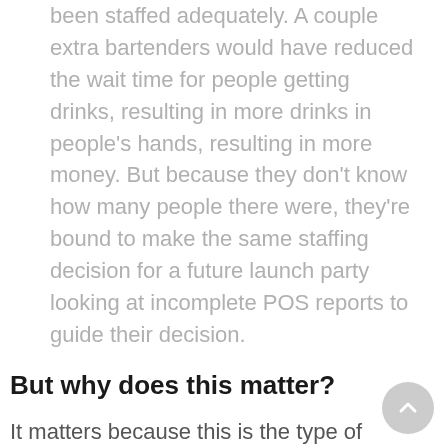been staffed adequately. A couple extra bartenders would have reduced the wait time for people getting drinks, resulting in more drinks in people's hands, resulting in more money. But because they don't know how many people there were, they're bound to make the same staffing decision for a future launch party looking at incomplete POS reports to guide their decision.
But why does this matter?
It matters because this is the type of information that needs to guide decisions to continue to grow and build their business.